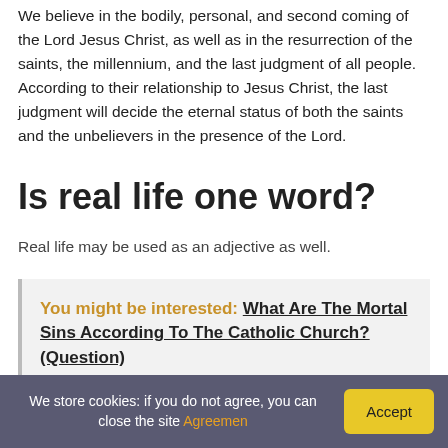We believe in the bodily, personal, and second coming of the Lord Jesus Christ, as well as in the resurrection of the saints, the millennium, and the last judgment of all people. According to their relationship to Jesus Christ, the last judgment will decide the eternal status of both the saints and the unbelievers in the presence of the Lord.
Is real life one word?
Real life may be used as an adjective as well.
You might be interested: What Are The Mortal Sins According To The Catholic Church? (Question)
We store cookies: if you do not agree, you can close the site Agreemen